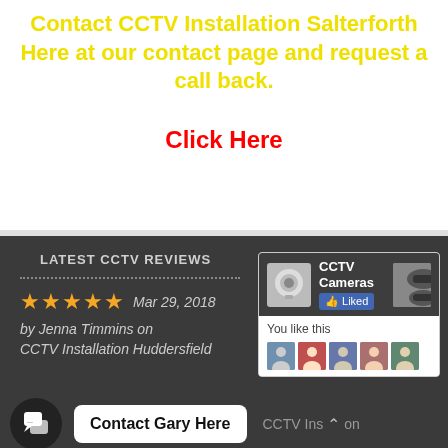Contact CCTV Installation Salterforth Here at our contact page and request a call back.
Click Here
LATEST CCTV REVIEWS
Mar 29, 2018 by Jenna Timmins on CCTV Installation Huddersfield
[Figure (screenshot): Facebook widget showing CCTV Cameras page with Liked button and profile photos of people who liked it. Shows 'You like this' text and 5 avatar thumbnails.]
Contact Gary Here
CCTV Ins... on